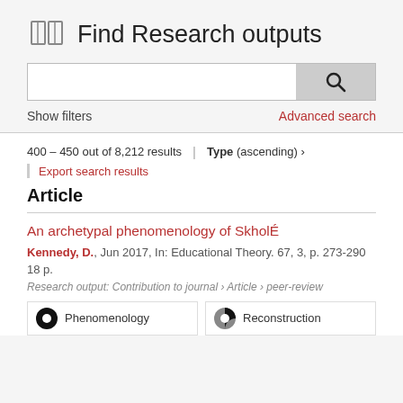Find Research outputs
Show filters
Advanced search
400 – 450 out of 8,212 results
Type (ascending) >
Export search results
Article
An archetypal phenomenology of SkholÉ
Kennedy, D., Jun 2017, In: Educational Theory. 67, 3, p. 273-290 18 p.
Research output: Contribution to journal › Article › peer-review
Phenomenology
Reconstruction